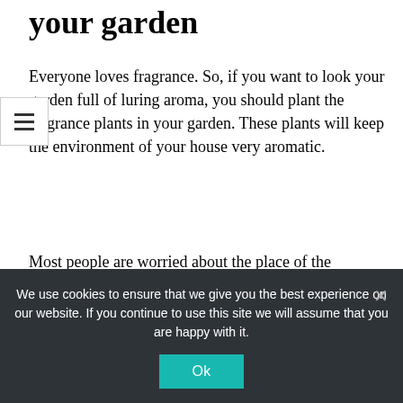your garden
Everyone loves fragrance. So, if you want to look your garden full of luring aroma, you should plant the fragrance plants in your garden. These plants will keep the environment of your house very aromatic.
Most people are worried about the place of the fragrance plants in the garden. They couldn't select the proper place for these plants. I tell you; you can plant this fragrance in the pathways and walkways of your garden and house. If you do this, you can
We use cookies to ensure that we give you the best experience on our website. If you continue to use this site we will assume that you are happy with it.